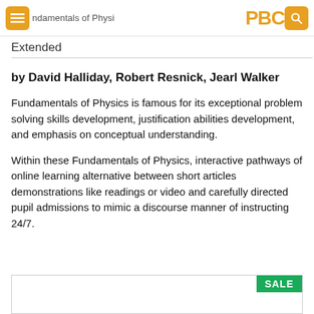Fundamentals of Physics PBC
Extended
by David Halliday, Robert Resnick, Jearl Walker
Fundamentals of Physics is famous for its exceptional problem solving skills development, justification abilities development, and emphasis on conceptual understanding.
Within these Fundamentals of Physics, interactive pathways of online learning alternative between short articles demonstrations like readings or video and carefully directed pupil admissions to mimic a discourse manner of instructing 24/7.
[Figure (other): Sale banner box with SALE badge in green]